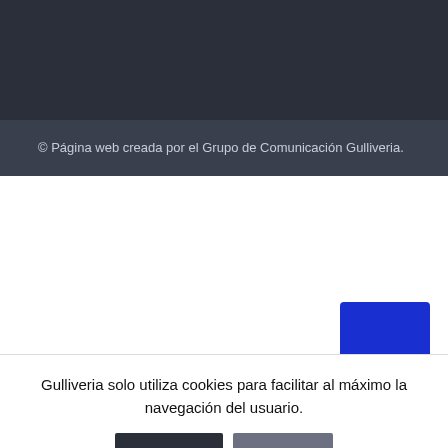© Página web creada por el Grupo de Comunicación Gulliveria.
Gulliveria solo utiliza cookies para facilitar al máximo la navegación del usuario.
Aceptar
Más info